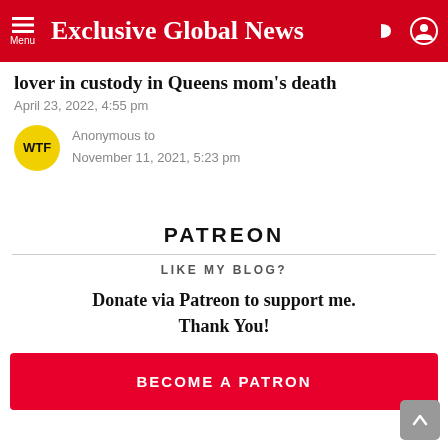Exclusive Global News
lover in custody in Queens mom's death
April 23, 2022, 4:55 pm
Anonymous to
November 11, 2021, 5:23 pm
PATREON
LIKE MY BLOG?
Donate via Patreon to support me. Thank You!
BECOME A PATRON